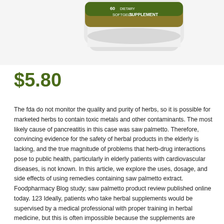[Figure (photo): Partial view of a dietary supplement bottle with green and gold label showing '60 SOFTGELS DIETARY SUPPLEMENT' text, white cap visible at bottom]
$5.80
The fda do not monitor the quality and purity of herbs, so it is possible for marketed herbs to contain toxic metals and other contaminants. The most likely cause of pancreatitis in this case was saw palmetto. Therefore, convincing evidence for the safety of herbal products in the elderly is lacking, and the true magnitude of problems that herb-drug interactions pose to public health, particularly in elderly patients with cardiovascular diseases, is not known. In this article, we explore the uses, dosage, and side effects of using remedies containing saw palmetto extract. Foodpharmacy Blog study; saw palmetto product review published online today. 123 Ideally, patients who take herbal supplements would be supervised by a medical professional with proper training in herbal medicine, but this is often impossible because the supplements are available over the counter and their proposed health indications can be easily researched online via unregulated websites. Combines well with saw palmetto and